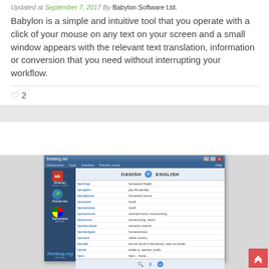Updated at September 7, 2017 By Babylon Software Ltd.
Babylon is a simple and intuitive tool that you operate with a click of your mouse on any text on your screen and a small window appears with the relevant text translation, information or conversion that you need without interrupting your workflow.
♡ 2
[Figure (screenshot): Screenshot of Freelang.net dictionary software showing Danish to English translation interface with word list entries]